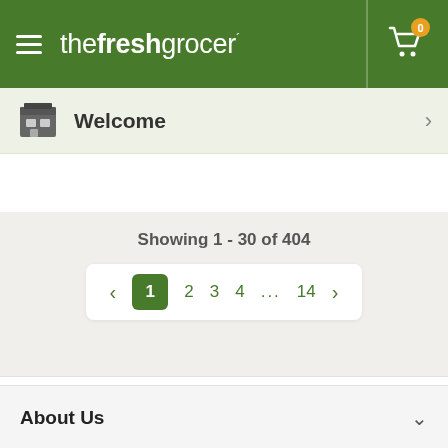the fresh grocer
Welcome
Showing 1 - 30 of 404
< 1 2 3 4 ... 14 >
About Us
Customer Service
Quick Links